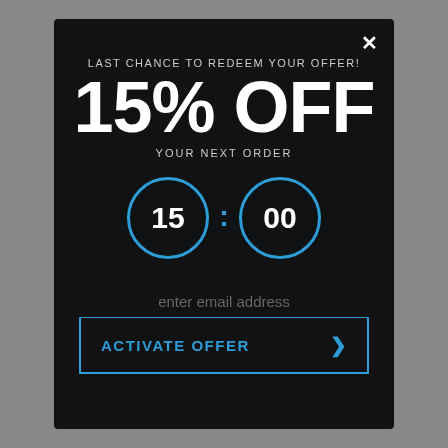LAST CHANCE TO REDEEM YOUR OFFER!
15% OFF
YOUR NEXT ORDER
[Figure (other): Countdown timer showing 15:00 in circular borders]
enter email address
ACTIVATE OFFER